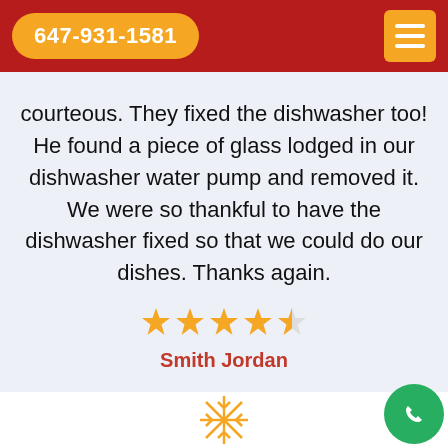647-931-1581
courteous. They fixed the dishwasher too! He found a piece of glass lodged in our dishwasher water pump and removed it. We were so thankful to have the dishwasher fixed so that we could do our dishes. Thanks again.
[Figure (other): 4.5 out of 5 stars rating — five star icons (4 full gold stars, 1 half gold star)]
Smith Jordan
[Figure (other): Decorative snowflake icon in gold/yellow outline style]
[Figure (other): Green circular phone call button (FAB) at bottom right corner, partially visible with reCAPTCHA logo]